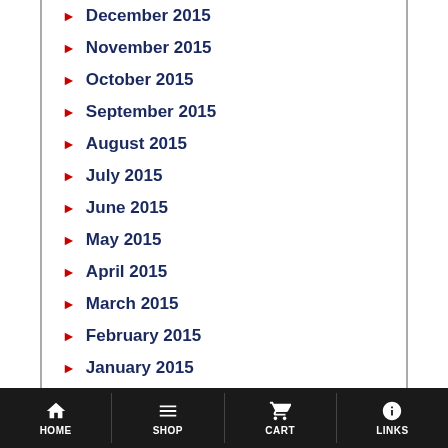December 2015
November 2015
October 2015
September 2015
August 2015
July 2015
June 2015
May 2015
April 2015
March 2015
February 2015
January 2015
December 2014
November 2014
HOME  SHOP  CART  LINKS